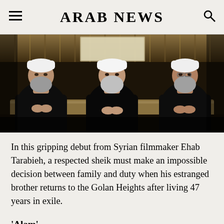ARAB NEWS
[Figure (photo): Three men wearing white turbans and black robes seated side by side in a room with curtains, likely from the film 'Alam'.]
In this gripping debut from Syrian filmmaker Ehab Tarabieh, a respected sheik must make an impossible decision between family and duty when his estranged brother returns to the Golan Heights after living 47 years in exile.
‘Alam’